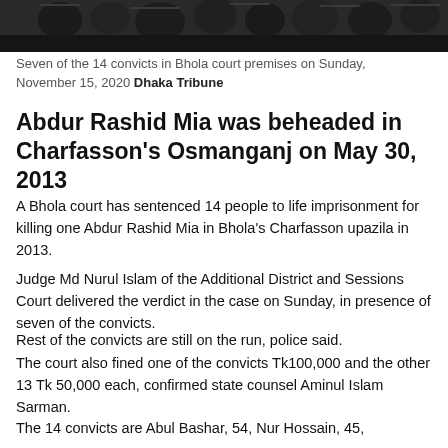[Figure (photo): A dark photograph showing several people (convicts) in what appears to be a court premises setting]
Seven of the 14 convicts in Bhola court premises on Sunday, November 15, 2020 Dhaka Tribune
Abdur Rashid Mia was beheaded in Charfasson's Osmanganj on May 30, 2013
A Bhola court has sentenced 14 people to life imprisonment for killing one Abdur Rashid Mia in Bhola's Charfasson upazila in 2013.
Judge Md Nurul Islam of the Additional District and Sessions Court delivered the verdict in the case on Sunday, in presence of seven of the convicts.
Rest of the convicts are still on the run, police said.
The court also fined one of the convicts Tk100,000 and the other 13 Tk 50,000 each, confirmed state counsel Aminul Islam Sarman.
The 14 convicts are Abul Bashar, 54, Nur Hossain, 45,